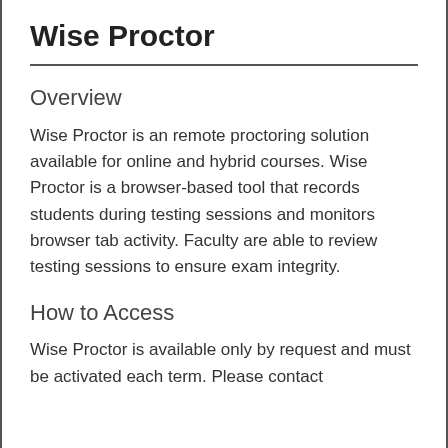Wise Proctor
Overview
Wise Proctor is an remote proctoring solution available for online and hybrid courses. Wise Proctor is a browser-based tool that records students during testing sessions and monitors browser tab activity. Faculty are able to review testing sessions to ensure exam integrity.
How to Access
Wise Proctor is available only by request and must be activated each term. Please contact